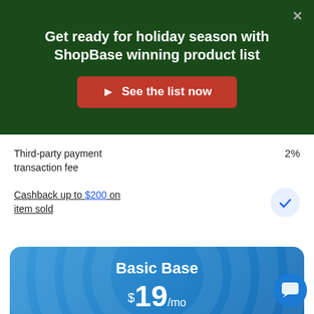Get ready for holiday season with ShopBase winning product list
See the list now
Third-party payment transaction fee	2%
Cashback up to $200 on item sold
Basic Base
$19/mo
Or $17/month paid anually
Best for beginers or businesses with 2–5